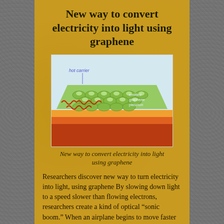New way to convert electricity into light using graphene
[Figure (illustration): 3D illustration of a graphene sheet showing hot carriers, emitted graphene plasmon pathways indicated with red wavy arrows, with layered substrate below in orange/red tones. Labels indicate 'hot carrier', 'emitted', 'graphene', 'plasmon'.]
New way to convert electricity into light using graphene
Researchers discover new way to turn electricity into light, using graphene By slowing down light to a speed slower than flowing electrons, researchers create a kind of optical “sonic boom.” When an airplane begins to move faster than the speed of sound, it creates a shockwave that produces a well-known “boom” of sound. Now, researchers at